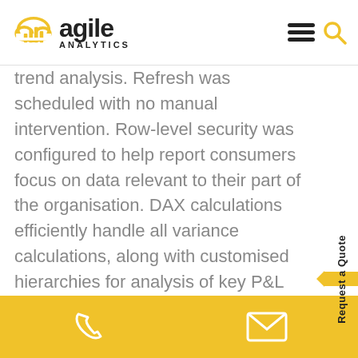Agile Analytics logo with hamburger menu and search icon
trend analysis. Refresh was scheduled with no manual intervention. Row-level security was configured to help report consumers focus on data relevant to their part of the organisation. DAX calculations efficiently handle all variance calculations, along with customised hierarchies for analysis of key P&L items.
Phone and email contact icons